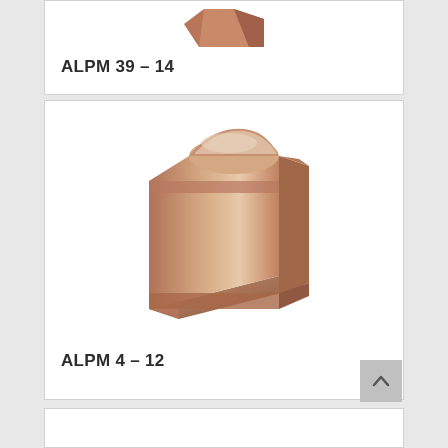[Figure (photo): Partial view of ALPM 39-14 wood moulding profile in brown/copper tone, cut off at top of page]
ALPM 39 – 14
[Figure (photo): ALPM 4-12 wood moulding profile shown in 3D perspective, brown/copper tone with decorative curved profile]
ALPM 4 – 12
[Figure (photo): Partial bottom card showing another moulding product, cut off at bottom of page]